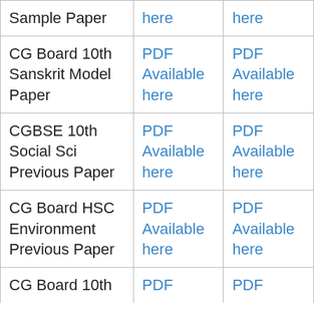| Subject | Column 2 | Column 3 |
| --- | --- | --- |
| Sample Paper | here | here |
| CG Board 10th Sanskrit Model Paper | PDF Available here | PDF Available here |
| CGBSE 10th Social Sci Previous Paper | PDF Available here | PDF Available here |
| CG Board HSC Environment Previous Paper | PDF Available here | PDF Available here |
| CG Board 10th | PDF | PDF |